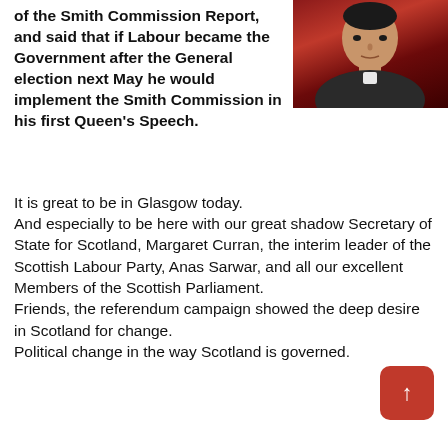of the Smith Commission Report, and said that if Labour became the Government after the General election next May he would implement the Smith Commission in his first Queen's Speech.
[Figure (photo): Portrait photo of a man against a red background, appearing to be a politician (Ed Miliband)]
It is great to be in Glasgow today.
And especially to be here with our great shadow Secretary of State for Scotland, Margaret Curran, the interim leader of the Scottish Labour Party, Anas Sarwar, and all our excellent Members of the Scottish Parliament.
Friends, the referendum campaign showed the deep desire in Scotland for change.
Political change in the way Scotland is governed.